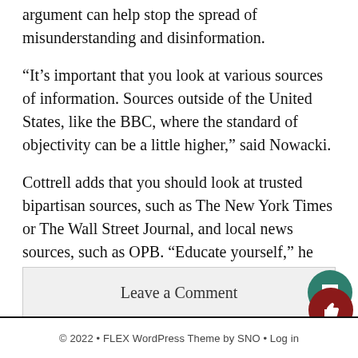argument can help stop the spread of misunderstanding and disinformation.
“It’s important that you look at various sources of information. Sources outside of the United States, like the BBC, where the standard of objectivity can be a little higher,” said Nowacki.
Cottrell adds that you should look at trusted bipartisan sources, such as The New York Times or The Wall Street Journal, and local news sources, such as OPB. “Educate yourself,” he said.
Leave a Comment
© 2022 • FLEX WordPress Theme by SNO • Log in